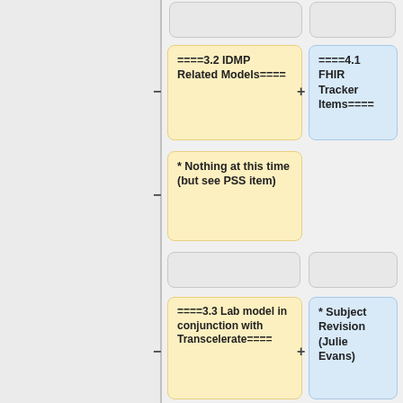[Figure (flowchart): Flowchart showing two-column comparison of wiki-style headings and tracker items. Left column (yellow cards): '====3.2 IDMP Related Models====', '* Nothing at this time (but see PSS item)', '====3.3 Lab model in conjunction with Transcelerate===='. Right column (blue cards): '====4.1 FHIR Tracker Items====', '* Subject Revision (Julie Evans)', '** Tracker 14253. "Problem ResearchStudy.condition cannot be...'. Gray empty placeholder cards also present.]